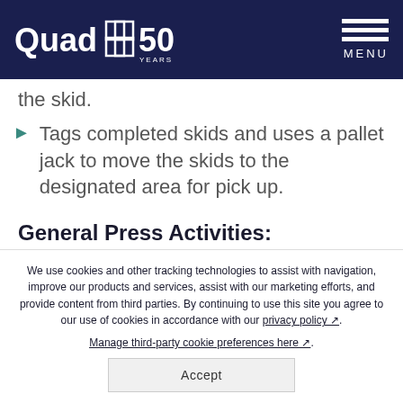Quad 50 Years — MENU
the skid.
Tags completed skids and uses a pallet jack to move the skids to the designated area for pick up.
General Press Activities:
(partial, cut off at bottom)
We use cookies and other tracking technologies to assist with navigation, improve our products and services, assist with our marketing efforts, and provide content from third parties. By continuing to use this site you agree to our use of cookies in accordance with our privacy policy. Manage third-party cookie preferences here.
Accept